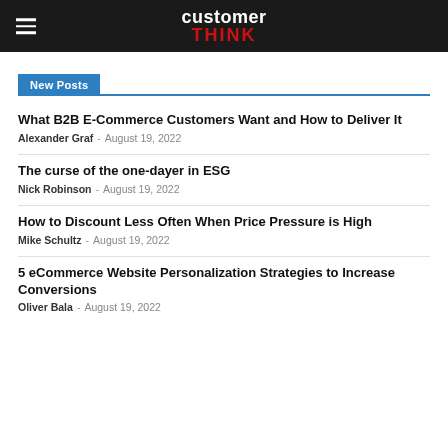customer THINK
New Posts
What B2B E-Commerce Customers Want and How to Deliver It
Alexander Graf  -  August 19, 2022
The curse of the one-dayer in ESG
Nick Robinson  -  August 19, 2022
How to Discount Less Often When Price Pressure is High
Mike Schultz  -  August 19, 2022
5 eCommerce Website Personalization Strategies to Increase Conversions
Oliver Baker  -  August 19, 2022